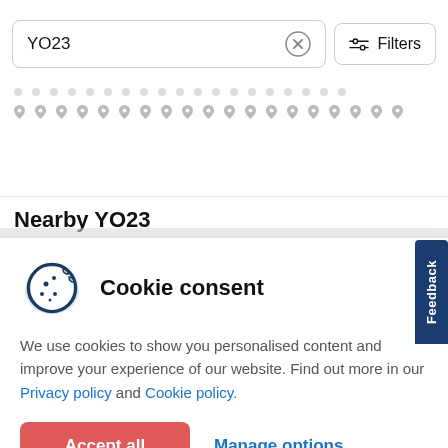[Figure (screenshot): Search input field showing 'YO23' with an X clear button, and a Filters button with sliders icon]
[Figure (map): Map area showing dot and pin markers for nearby locations around YO23]
Nearby YO23
[Figure (infographic): Cookie consent modal with cookie icon, title 'Cookie consent', body text about personalised content, Privacy policy and Cookie policy links, Accept all button and Manage options button]
We use cookies to show you personalised content and improve your experience of our website. Find out more in our Privacy policy and Cookie policy.
Accept all
Manage options